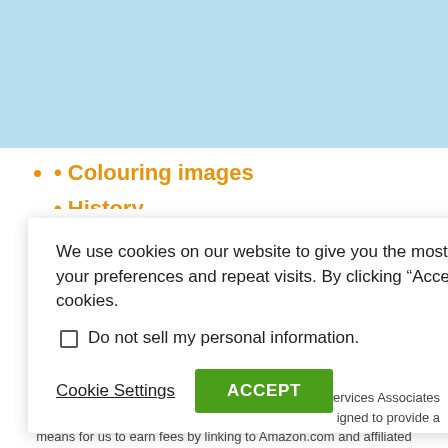[Figure (other): Light blue header banner area at top of page]
Colouring images
History
We use cookies on our website to give you the most relevant experience by remembering your preferences and repeat visits. By clicking “Accept”, you consent to the use of ALL the cookies.
Do not sell my personal information.
Cookie Settings   ACCEPT
ervices Associates igned to provide a means for us to earn fees by linking to Amazon.com and affiliated